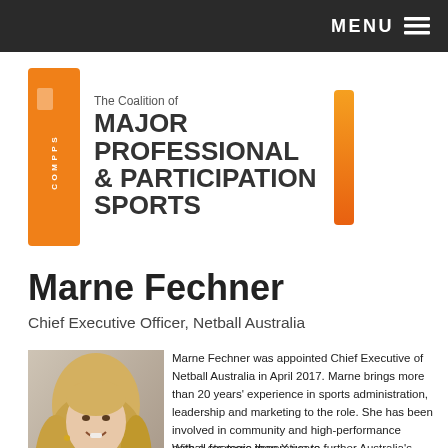MENU
[Figure (logo): COMPPS – The Coalition of Major Professional & Participation Sports logo with orange vertical bars]
Marne Fechner
Chief Executive Officer, Netball Australia
[Figure (photo): Headshot photo of Marne Fechner, a woman with blonde hair wearing a white jacket, smiling]
Marne Fechner was appointed Chief Executive of Netball Australia in April 2017. Marne brings more than 20 years' experience in sports administration, leadership and marketing to the role. She has been involved in community and high-performance netball for more than X years.
With a strategic imperative to further Australia's oldest and largest participatory sport for women and girls, Marne leads the organisation to...